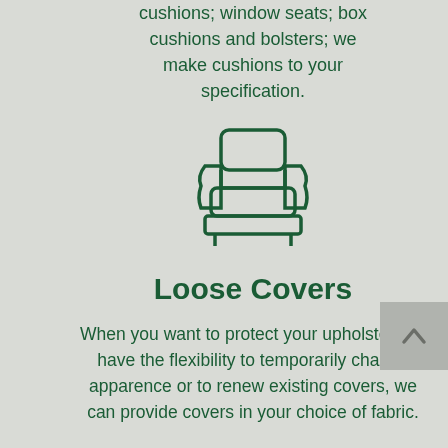cushions; window seats; box cushions and bolsters; we make cushions to your specification.
[Figure (illustration): Outline illustration of an armchair with a cushion, drawn in dark green on a light grey background]
Loose Covers
When you want to protect your upholstery, to have the flexibility to temporarily change apparence or to renew existing covers, we can provide covers in your choice of fabric.
[Figure (illustration): Partial outline illustration of a furniture/sofa piece, drawn in dark green, partially visible at the bottom of the page]